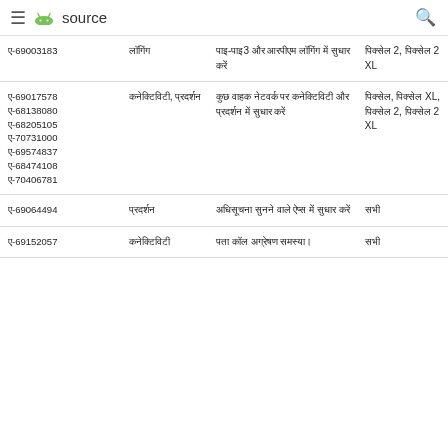source
| ए-69003183 | लॉगिंग | पाइ-पाइ3 और आरपीएम लॉगिंग में सुधार करें | पिक्सेल 2, पिक्सेल 2 XL |
| ए-69017578 ए-68138080 ए-68205105 ए-70731000 ए-69574837 ए-68474108 ए-70406781 | कनेक्टिविटी, प्रदर्शन | कुछ वाहक नेटवर्क पर कनेक्टिविटी और प्रदर्शन में सुधार करें | पिक्सेल, पिक्सेल XL, पिक्सेल 2, पिक्सेल 2 XL |
| ए-69064494 | प्रदर्शन | अधिसूचना सुनने वाले ऐप्स में सुधार करें | सभी |
| ए-69152057 | कनेक्टिविटी | पता कॉल अग्रेषण समस्या। | सभी |